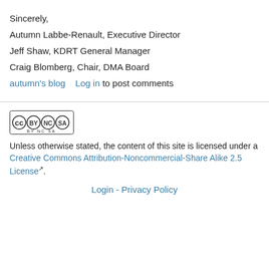Sincerely,
Autumn Labbe-Renault, Executive Director
Jeff Shaw, KDRT General Manager
Craig Blomberg, Chair, DMA Board
autumn's blog    Log in to post comments
[Figure (logo): Creative Commons BY-NC-SA license badge]
Unless otherwise stated, the content of this site is licensed under a Creative Commons Attribution-Noncommercial-Share Alike 2.5 License.
Login - Privacy Policy